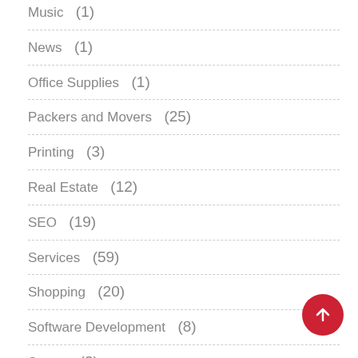Music (1)
News (1)
Office Supplies (1)
Packers and Movers (25)
Printing (3)
Real Estate (12)
SEO (19)
Services (59)
Shopping (20)
Software Development (8)
Sports (3)
Technology (80)